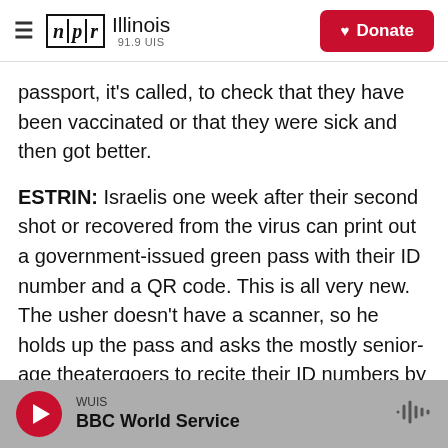NPR Illinois 91.9 UIS | Donate
passport, it's called, to check that they have been vaccinated or that they were sick and then got better.
ESTRIN: Israelis one week after their second shot or recovered from the virus can print out a government-issued green pass with their ID number and a QR code. This is all very new. The usher doesn't have a scanner, so he holds up the pass and asks the mostly senior-age theatergoers to recite their ID numbers by heart to make sure no one's cheating.
WUIS BBC World Service